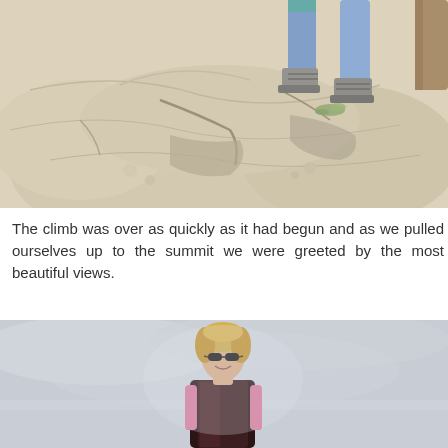[Figure (photo): Close-up photograph of rocky limestone terrain with two people climbing. Their legs and hiking boots are visible at the top of the frame, stepping over pale beige/white rocks. Some green vegetation visible in cracks between rocks.]
The climb was over as quickly as it had begun and as we pulled ourselves up to the summit we were greeted by the most beautiful views.
[Figure (photo): Photograph of a woman smiling at the summit, wearing sunglasses and a dark purple/maroon vest over a pink top. She has blonde hair and stands against an overcast grey sky.]